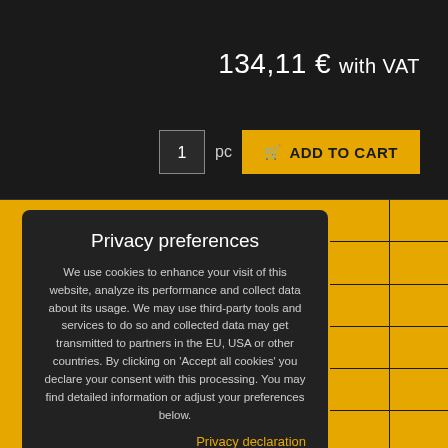134,11 € with VAT
1 pc ADD TO CART
Privacy preferences
We use cookies to enhance your visit of this website, analyze its performance and collect data about its usage. We may use third-party tools and services to do so and collected data may get transmitted to partners in the EU, USA or other countries. By clicking on 'Accept all cookies' you declare your consent with this processing. You may find detailed information or adjust your preferences below.
Privacy declaration
Show details
Accept all cookies